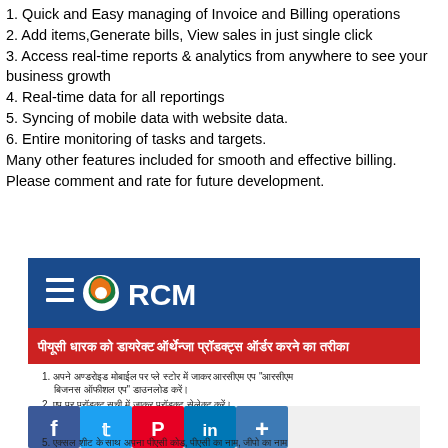1. Quick and Easy managing of Invoice and Billing operations
2. Add items,Generate bills, View sales in just single click
3. Access real-time reports & analytics from anywhere to see your business growth
4. Real-time data for all reportings
5. Syncing of mobile data with website data.
6. Entire monitoring of tasks and targets.
Many other features included for smooth and effective billing.
Please comment and rate for future development.
[Figure (screenshot): RCM Business app screenshot showing Hindi instructions for PYC holders to order Athenjo products directly, with numbered steps in Hindi text and social media icons (Facebook, Twitter, Pinterest, LinkedIn, Share) at the bottom]